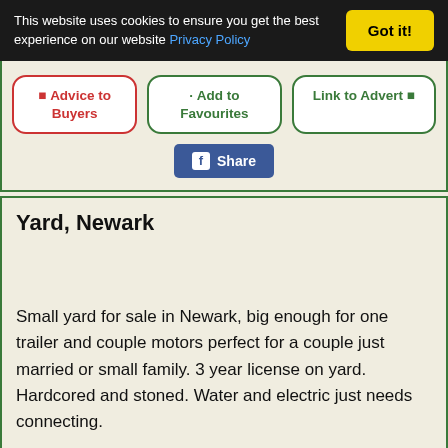This website uses cookies to ensure you get the best experience on our website Privacy Policy
Got it!
Advice to Buyers
Add to Favourites
Link to Advert
Share
Yard, Newark
Small yard for sale in Newark, big enough for one trailer and couple motors perfect for a couple just married or small family. 3 year license on yard. Hardcored and stoned. Water and electric just needs connecting.
Good sensible neighbours, road just been done, everything